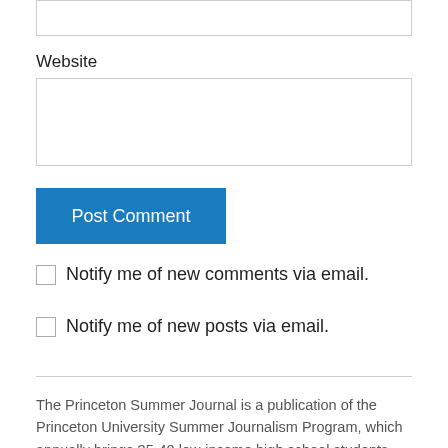Website
Post Comment
Notify me of new comments via email.
Notify me of new posts via email.
The Princeton Summer Journal is a publication of the Princeton University Summer Journalism Program, which annually brings 35-40 low-income high school students from across the country to Princeton's campus for an intensive, all-expenses-paid 10-day seminar on journalism and college admissions. The program's goal is to diversify newsrooms by encouraging outstanding students from low-income